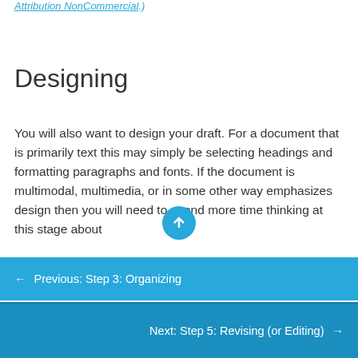Attribution NonCommercial.)
Designing
You will also want to design your draft. For a document that is primarily text this may simply be selecting headings and formatting paragraphs and fonts. If the document is multimodal, multimedia, or in some other way emphasizes design then you will need to spend more time thinking at this stage about
← Previous: Step 3: Organizing
Next: Step 5: Revising (or Editing) →